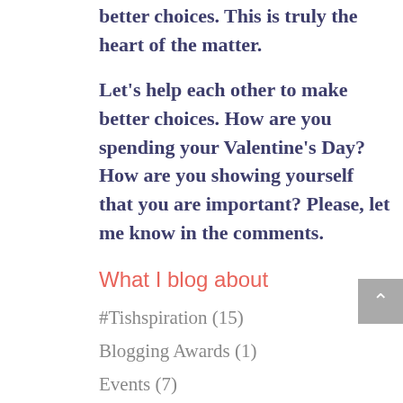better choices. This is truly the heart of the matter.
Let's help each other to make better choices. How are you spending your Valentine's Day? How are you showing yourself that you are important? Please, let me know in the comments.
What I blog about
#Tishspiration (15)
Blogging Awards (1)
Events (7)
Flash Fiction (3)